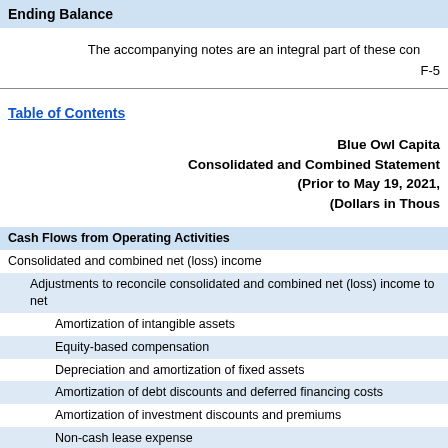Ending Balance
The accompanying notes are an integral part of these con
F-5
Table of Contents
Blue Owl Capita
Consolidated and Combined Statement
(Prior to May 19, 2021,
(Dollars in Thous
Cash Flows from Operating Activities
Consolidated and combined net (loss) income
Adjustments to reconcile consolidated and combined net (loss) income to net
Amortization of intangible assets
Equity-based compensation
Depreciation and amortization of fixed assets
Amortization of debt discounts and deferred financing costs
Amortization of investment discounts and premiums
Non-cash lease expense
Net gains on investments, net of dividends
Change in TRA liability
Change in earnout liability